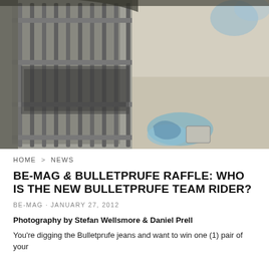[Figure (photo): Outdoor urban photo showing a metal fence/gate with bars on the left side and a concrete ground with graffiti/street art on the right. Color palette: grays, beige, and blue painted markings on ground.]
HOME > NEWS
BE-MAG & BULLETPRUFE RAFFLE: WHO IS THE NEW BULLETPRUFE TEAM RIDER?
BE-MAG · JANUARY 27, 2012
Photography by Stefan Wellsmore & Daniel Prell
You're digging the Bulletprufe jeans and want to win one (1) pair of your